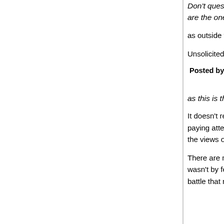Don't question my commitment to feminism just b... brand of feminism that Doctor Science preaches.... are the ones helping to run the world.
as outside the set of 'respectful'.
Unsolicited advice, I know, but you'd get a lot farth... your commitment if you respected theirs.
Posted by: liberal japonicus | May 27, 2014 at 06:45 AM
as this is the first time you've trotted out your 'this... shirt, I'm not convinced
It doesn't really matter to me whether you are cor... remember reading my views on feminism in the p... paying attention. That's fair, as I certainly haven't... topic. And if you want to go through life believing t... the views of all feminists, go right ahead.
There are many women who are, in my generatio... male professions. I was a witness to that struggle... wasn't by fearing elevators or by insisting on "trigg... I'm glad that our society is hoping to make strides... battle that needs to be fought. It remains to be se...